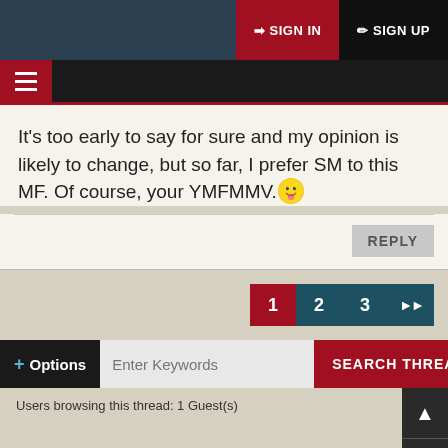SIGN IN  SIGN UP
It's too early to say for sure and my opinion is likely to change, but so far, I prefer SM to this MF. Of course, your YMFMMV. 😛
REPLY
1  2  3  ▶▶
+ Options  Enter Keywords  SEARCH THREAD
Users browsing this thread: 1 Guest(s)